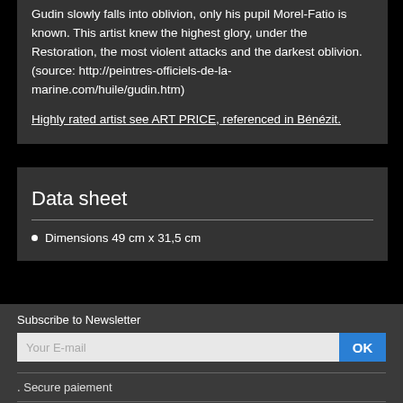Gudin slowly falls into oblivion, only his pupil Morel-Fatio is known. This artist knew the highest glory, under the Restoration, the most violent attacks and the darkest oblivion. (source: http://peintres-officiels-de-la-marine.com/huile/gudin.htm)
Highly rated artist see ART PRICE, referenced in Bénézit.
Data sheet
Dimensions 49 cm x 31,5 cm
Subscribe to Newsletter
. Secure paiement
. Terms
. Legal mentions
. Sell